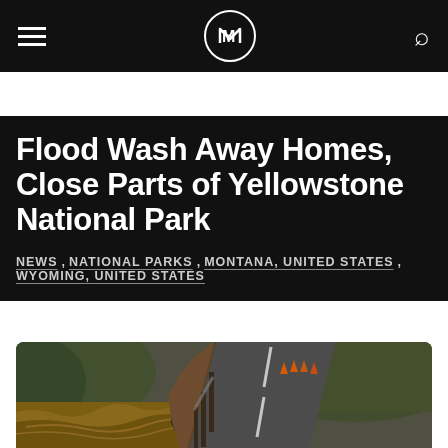≡  [logo]  🔍
NEWS  TRAVEL  CULTURE  FOOD + DRINK  OUTDOOR
Flood Wash Away Homes, Close Parts of Yellowstone National Park
NEWS, NATIONAL PARKS, MONTANA, UNITED STATES, WYOMING, UNITED STATES
[Figure (photo): Flooded river next to a road with severe erosion, road crumbling into the floodwater, orange traffic cones visible, hillside vegetation in background]